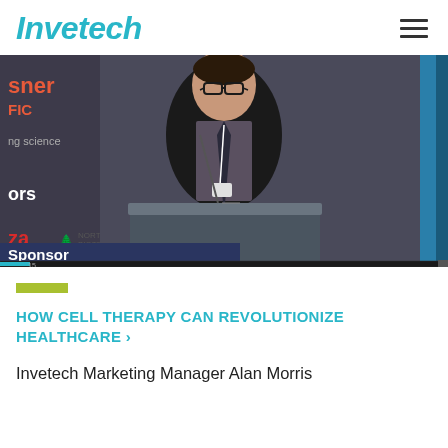Invetech
[Figure (photo): A man in a dark suit and glasses speaking at a podium/lectern at a conference. Conference banners are visible in the background including partial text 'sner', 'FIC', 'ng science', 'ors', 'za', 'North Biotechnology', 'Sponsor'. There is a video player scrubber bar at the bottom.]
HOW CELL THERAPY CAN REVOLUTIONIZE HEALTHCARE >
Invetech Marketing Manager Alan Morris